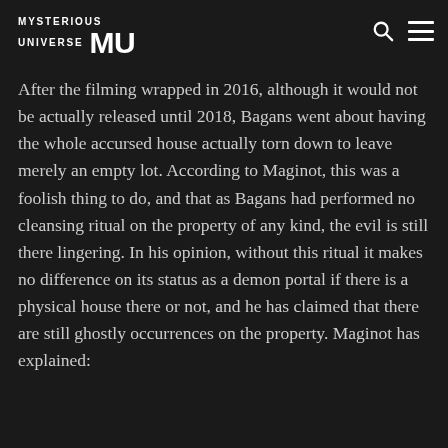MYSTERIOUS UNIVERSE MU
After the filming wrapped in 2016, although it would not be actually released until 2018, Bagans went about having the whole accursed house actually torn down to leave merely an empty lot. According to Maginot, this was a foolish thing to do, and that as Bagans had performed no cleansing ritual on the property of any kind, the evil is still there lingering. In his opinion, without this ritual it makes no difference on its status as a demon portal if there is a physical house there or not, and he has claimed that there are still ghostly occurrences on the property. Maginot has explained: